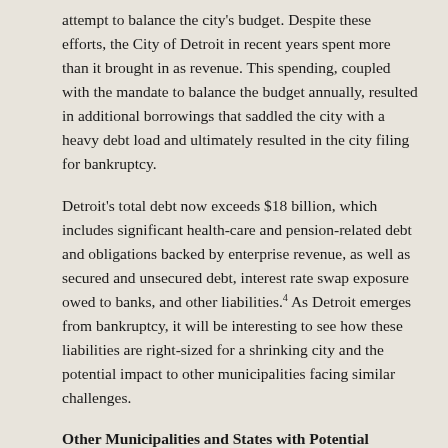attempt to balance the city's budget. Despite these efforts, the City of Detroit in recent years spent more than it brought in as revenue. This spending, coupled with the mandate to balance the budget annually, resulted in additional borrowings that saddled the city with a heavy debt load and ultimately resulted in the city filing for bankruptcy.
Detroit's total debt now exceeds $18 billion, which includes significant health-care and pension-related debt and obligations backed by enterprise revenue, as well as secured and unsecured debt, interest rate swap exposure owed to banks, and other liabilities.4 As Detroit emerges from bankruptcy, it will be interesting to see how these liabilities are right-sized for a shrinking city and the potential impact to other municipalities facing similar challenges.
Other Municipalities and States with Potential Financial